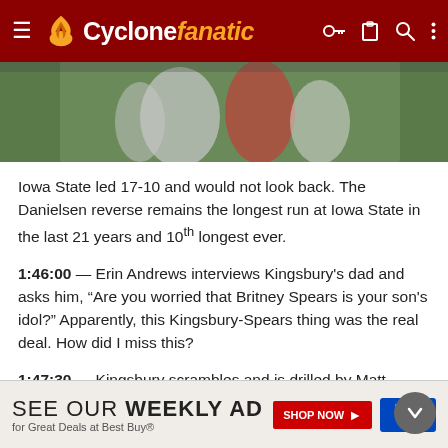Cyclone fanatic
[Figure (photo): Football players on a field, partial view cropped at top]
Iowa State led 17-10 and would not look back. The Danielsen reverse remains the longest run at Iowa State in the last 21 years and 10th longest ever.
1:46:00 — Erin Andrews interviews Kingsbury's dad and asks him, “Are you worried that Britney Spears is your son's idol?” Apparently, this Kingsbury-Spears thing was the real deal. How did I miss this?
1:47:30 — Kingsbury scrambles and is drilled by Matt Word, th... Iowa S... assun...